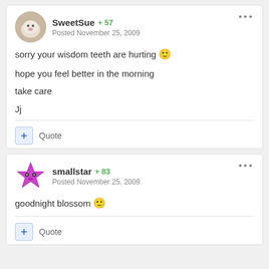SweetSue +57 Posted November 25, 2009
sorry your wisdom teeth are hurting :)
hope you feel better in the morning
take care
Jj
+ Quote
smallstar +83 Posted November 25, 2009
goodnight blossom :)
+ Quote